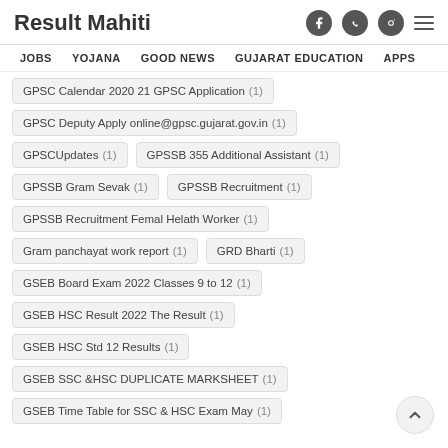Result Mahiti
JOBS  YOJANA  GOOD NEWS  GUJARAT EDUCATION  APPS
GPSC Calendar 2020  21 GPSC Application  (1)
GPSC Deputy Apply online@gpsc.gujarat.gov.in  (1)
GPSCUpdates  (1)    GPSSB 355 Additional Assistant  (1)
GPSSB Gram Sevak  (1)    GPSSB Recruitment  (1)
GPSSB Recruitment Femal Helath Worker  (1)
Gram panchayat work report  (1)    GRD Bharti  (1)
GSEB Board Exam 2022 Classes 9 to 12  (1)
GSEB HSC Result 2022 The Result  (1)
GSEB HSC Std  12 Results  (1)
GSEB SSC &HSC DUPLICATE MARKSHEET  (1)
GSEB Time Table for SSC & HSC Exam May  (1)